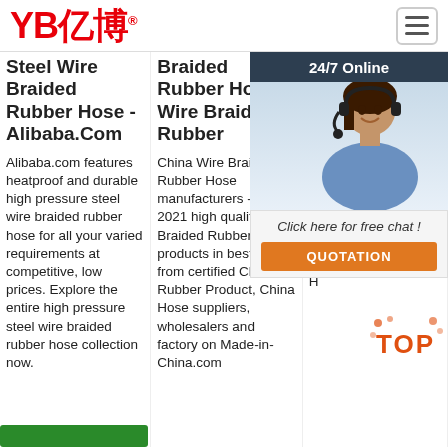[Figure (logo): YB亿博 logo in red with registered trademark symbol]
Steel Wire Braided Rubber Hose - Alibaba.Com
Alibaba.com features heatproof and durable high pressure steel wire braided rubber hose for all your varied requirements at competitive, low prices. Explore the entire high pressure steel wire braided rubber hose collection now.
Braided Rubber Hose, Wire Braided Rubber
China Wire Braided Rubber Hose manufacturers - Select 2021 high quality Wire Braided Rubber Hose products in best price from certified Chinese Rubber Product, China Hose suppliers, wholesalers and factory on Made-in-China.com
Rubber Hose - He Hy Flu
Chi rub of S Wi Hy Hos with Exc Performance and Flexibility., High Performance SAE Standard R17 Hydraulic Hose provided by China manufacturer - H
[Figure (photo): 24/7 Online customer service chat widget with woman wearing headset, Click here for free chat text, and QUOTATION orange button]